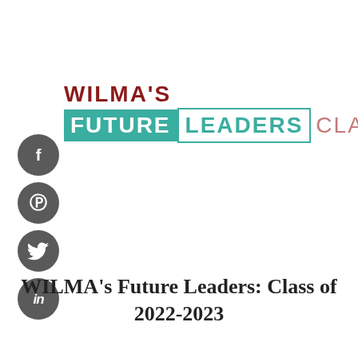[Figure (logo): WILMA'S FUTURE LEADERS CLASS logo. 'WILMA'S' in bold dark red uppercase, below it 'FUTURE' in white on teal background box, 'LEADERS' in teal on white with teal border box, 'CLASS' in light rose/pink thin font.]
[Figure (infographic): Four dark grey circular social media icon buttons arranged vertically on the left side: Facebook (f), Pinterest (Pinterest P symbol), Twitter (bird icon), LinkedIn (in).]
WILMA's Future Leaders: Class of 2022-2023